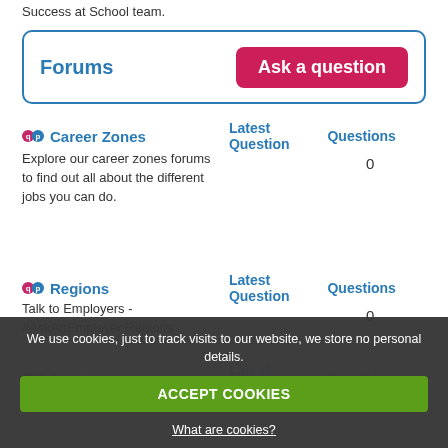Success at School team.
Forums   Ask a question
Career Zones   Latest Question   Questions
Explore our career zones forums to find out all about the different jobs you can do.
0
Regions   Latest Question   Questions
Talk to Employers - #AskAnEmployer Regions
0
Employers   Latest Question   Questions
We use cookies, just to track visits to our website, we store no personal details.
ACCEPT COOKIES
What are cookies?